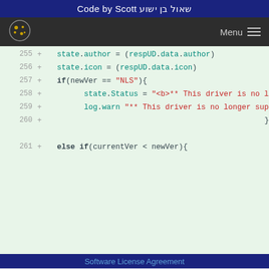Code by Scott שאול בן ישוע
[Figure (screenshot): Navigation bar with cookie logo and Menu hamburger icon on dark background]
Code listing lines 255-261 showing JavaScript/CoffeeScript code with state.author, state.icon, if(newVer == 'NLS') condition, state.Status assignment, log.warn call, closing brace, and else if(currentVer < newVer){ line
Software License Agreement